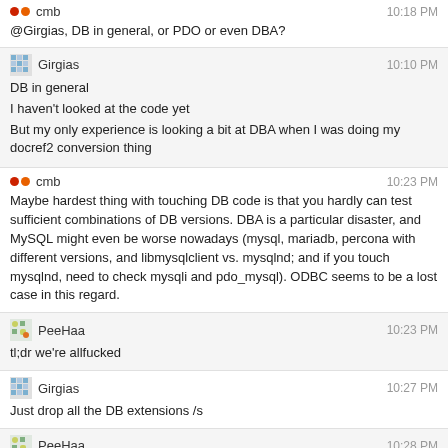@Girgias, DB in general, or PDO or even DBA?
Girgias 10:10 PM
DB in general
I haven't looked at the code yet
But my only experience is looking a bit at DBA when I was doing my docref2 conversion thing
cmb 10:23 PM
Maybe hardest thing with touching DB code is that you hardly can test sufficient combinations of DB versions. DBA is a particular disaster, and MySQL might even be worse nowadays (mysql, mariadb, percona with different versions, and libmysqlclient vs. mysqlnd; and if you touch mysqlnd, need to check mysqli and pdo_mysql). ODBC seems to be a lost case in this regard.
PeeHaa 10:23 PM
tl;dr we're allfucked
Girgias 10:27 PM
Just drop all the DB extensions /s
PeeHaa 10:28 PM
DROP FROM php-src WHERE 1=1;-- \o/
← prev day
next day →
last day »
join this room